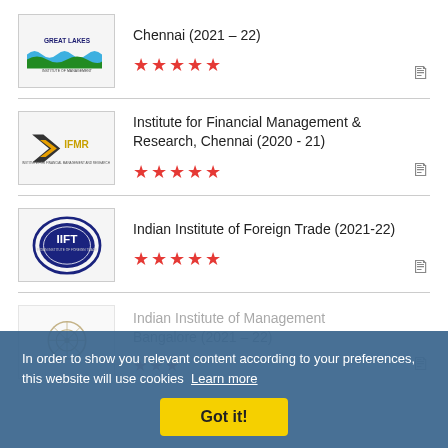Great Lakes Institute of Management, Chennai (2021 – 22) ★★★★★
Institute for Financial Management & Research, Chennai (2020 - 21) ★★★★★
Indian Institute of Foreign Trade (2021-22) ★★★★★
Indian Institute of Management Bangalore (2021 – 22) ★★★
In order to show you relevant content according to your preferences, this website will use cookies Learn more Got it!